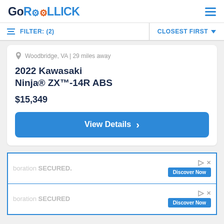GoROLLICK
FILTER: (2)   CLOSEST FIRST
Woodbridge, VA | 29 miles away
2022 Kawasaki Ninja® ZX™-14R ABS
$15,349
View Details
[Figure (screenshot): Two ad banners with text 'boration SECURED.' and 'Discover Now' buttons]
« ‹ 1 2 3 4 5 › »